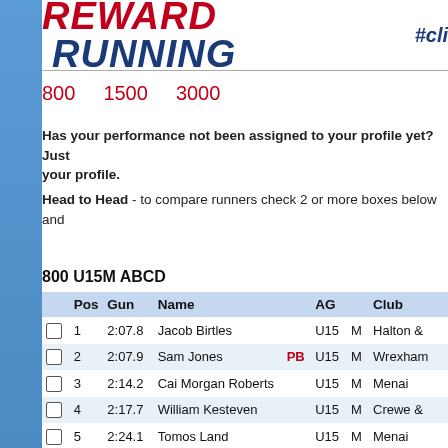REWARD RUNNING #cli...
800  1500  3000
Has your performance not been assigned to your profile yet? Just your profile.
Head to Head - to compare runners check 2 or more boxes below and
800 U15M ABCD
|  | Pos | Gun | Name |  | AG |  | Club |
| --- | --- | --- | --- | --- | --- | --- | --- |
|  | 1 | 2:07.8 | Jacob Birtles |  | U15 | M | Halton & |
|  | 2 | 2:07.9 | Sam Jones | PB | U15 | M | Wrexham |
|  | 3 | 2:14.2 | Cai Morgan Roberts |  | U15 | M | Menai |
|  | 4 | 2:17.7 | William Kesteven |  | U15 | M | Crewe & |
|  | 5 | 2:24.1 | Tomos Land |  | U15 | M | Menai |
|  | 6 | 2:25.5 | Ethan Ackroyd | PB | U15 | M | Deeside |
|  | 7 | 2:29.3 | Luke Chatwin | PB | U15 | M | Crewe & |